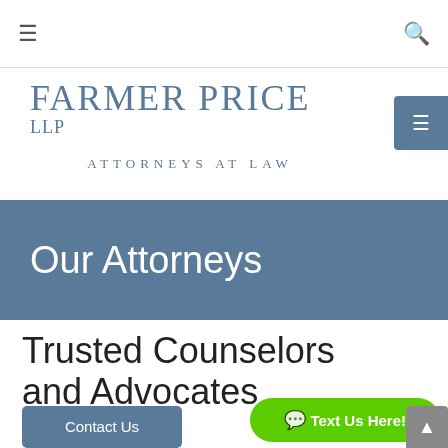≡   🔍
[Figure (logo): FarmerPrice LLP Attorneys at Law logo in steel blue serif text]
Our Attorneys
Trusted Counselors and Advocates
Contact Us
Text Us Here!